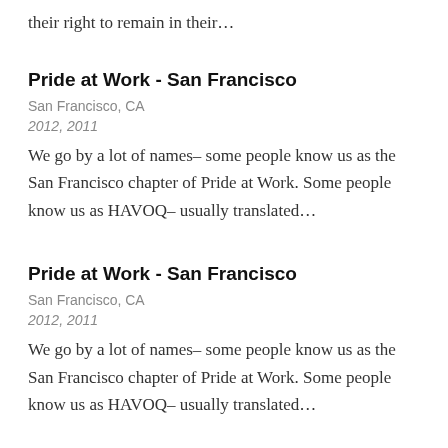their right to remain in their…
Pride at Work - San Francisco
San Francisco, CA
2012, 2011
We go by a lot of names– some people know us as the San Francisco chapter of Pride at Work. Some people know us as HAVOQ– usually translated…
Pride at Work - San Francisco
San Francisco, CA
2012, 2011
We go by a lot of names– some people know us as the San Francisco chapter of Pride at Work. Some people know us as HAVOQ– usually translated…